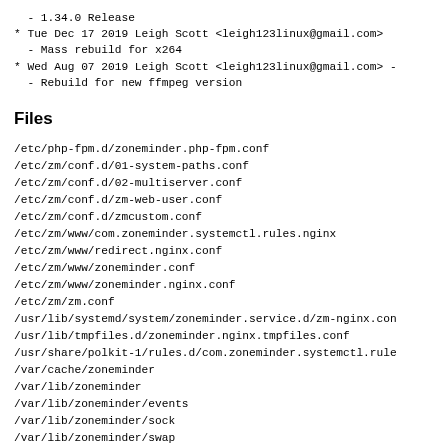- 1.34.0 Release
* Tue Dec 17 2019 Leigh Scott <leigh123linux@gmail.com>
  - Mass rebuild for x264
* Wed Aug 07 2019 Leigh Scott <leigh123linux@gmail.com> -
  - Rebuild for new ffmpeg version
Files
/etc/php-fpm.d/zoneminder.php-fpm.conf
/etc/zm/conf.d/01-system-paths.conf
/etc/zm/conf.d/02-multiserver.conf
/etc/zm/conf.d/zm-web-user.conf
/etc/zm/conf.d/zmcustom.conf
/etc/zm/www/com.zoneminder.systemctl.rules.nginx
/etc/zm/www/redirect.nginx.conf
/etc/zm/www/zoneminder.conf
/etc/zm/www/zoneminder.nginx.conf
/etc/zm/zm.conf
/usr/lib/systemd/system/zoneminder.service.d/zm-nginx.con
/usr/lib/tmpfiles.d/zoneminder.nginx.tmpfiles.conf
/usr/share/polkit-1/rules.d/com.zoneminder.systemctl.rule
/var/cache/zoneminder
/var/lib/zoneminder
/var/lib/zoneminder/events
/var/lib/zoneminder/sock
/var/lib/zoneminder/swap
/var/lib/zoneminder/temp
/var/log/zoneminder